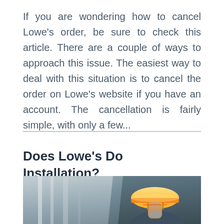If you are wondering how to cancel Lowe's order, be sure to check this article. There are a couple of ways to approach this issue. The easiest way to deal with this situation is to cancel the order on Lowe's website if you have an account. The cancellation is fairly simple, with only a few...
Does Lowe's Do Installation?
[Figure (photo): A construction worker wearing a yellow hard hat, photographed from below against a blurred background of building panels or architectural structures.]